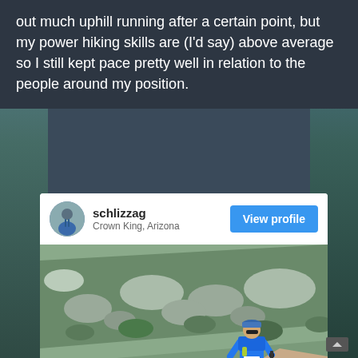out much uphill running after a certain point, but my power hiking skills are (I'd say) above average so I still kept pace pretty well in relation to the people around my position.
[Figure (screenshot): Instagram-style profile card showing user 'schlizzag' from Crown King, Arizona with a 'View profile' button and a photo of a trail runner in a blue shirt running on a mountain trail with rocky hillside in the background]